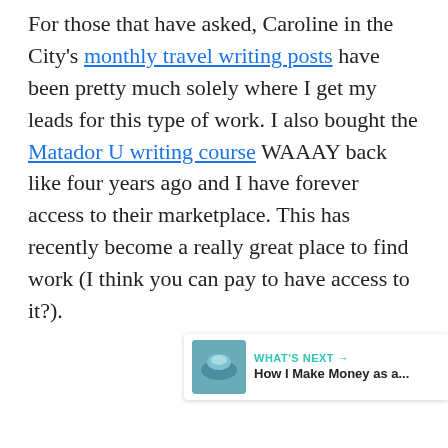For those that have asked, Caroline in the City's monthly travel writing posts have been pretty much solely where I get my leads for this type of work. I also bought the Matador U writing course WAAAY back like four years ago and I have forever access to their marketplace. This has recently become a really great place to find work (I think you can pay to have access to it?).
[Figure (other): Like button (teal circle with heart icon) with count of 1, and share button below]
[Figure (other): What's Next widget showing a thumbnail image and text 'How I Make Money as a...']